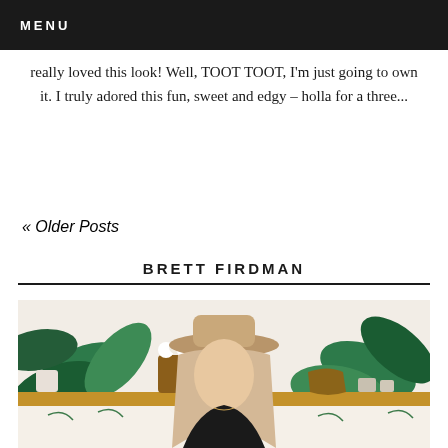MENU
really loved this look! Well, TOOT TOOT, I'm just going to own it. I truly adored this fun, sweet and edgy – holla for a three...
« Older Posts
BRETT FIRDMAN
[Figure (photo): A blonde woman wearing a wide-brim tan hat and black top, posed in front of a tropical leaf-patterned wall with a wooden shelf holding plants and decorative items in the background.]